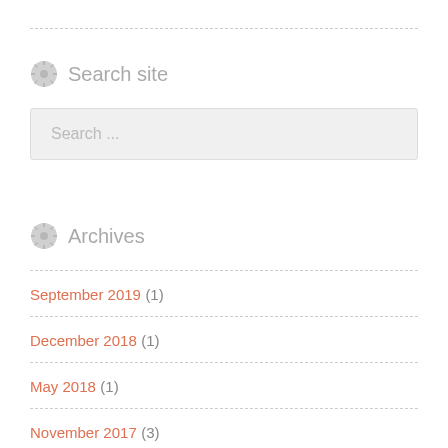Search site
Search ...
Archives
September 2019 (1)
December 2018 (1)
May 2018 (1)
November 2017 (3)
October 2017 (7)